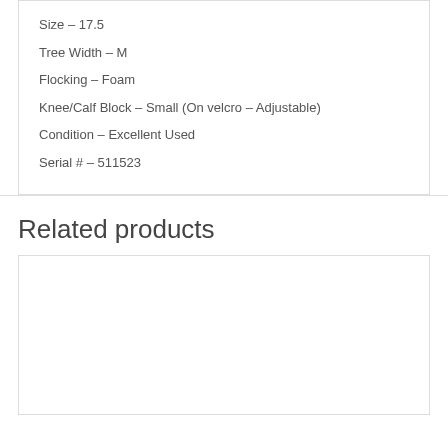Size – 17.5
Tree Width – M
Flocking – Foam
Knee/Calf Block – Small (On velcro – Adjustable)
Condition – Excellent Used
Serial # – 511523
Related products
[Figure (other): Empty related products image area]